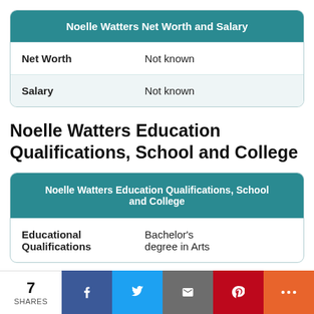|  |  |
| --- | --- |
| Net Worth | Not known |
| Salary | Not known |
Noelle Watters Education Qualifications, School and College
|  |  |
| --- | --- |
| Educational Qualifications | Bachelor's degree in Arts |